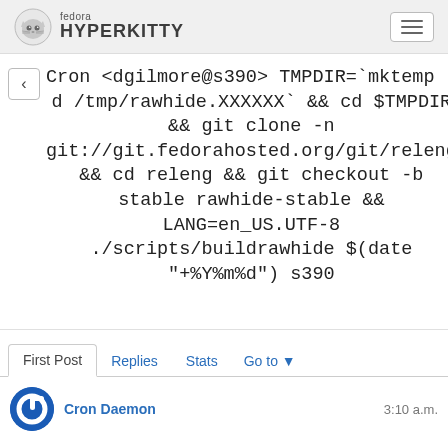fedora HYPERKITTY
Cron <dgilmore@s390> TMPDIR=`mktemp -d /tmp/rawhide.XXXXXX` && cd $TMPDIR && git clone -n git://git.fedorahosted.org/git/releng && cd releng && git checkout -b stable rawhide-stable && LANG=en_US.UTF-8 ./scripts/buildrawhide $(date "+%Y%m%d") s390
First Post | Replies | Stats | Go to
Cron Daemon   3:10 a.m.